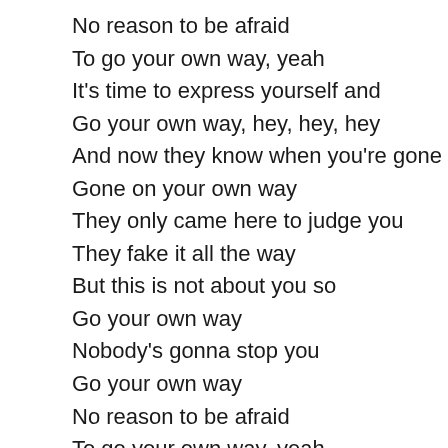No reason to be afraid
To go your own way, yeah
It's time to express yourself and
Go your own way, hey, hey, hey
And now they know when you're gone
Gone on your own way
They only came here to judge you
They fake it all the way
But this is not about you so
Go your own way
Nobody's gonna stop you
Go your own way
No reason to be afraid
To go your own way, yeah
It's time to express yourself and
Go your own way, hey, hey, hey
And now they know when you're gone
Gone on your own way